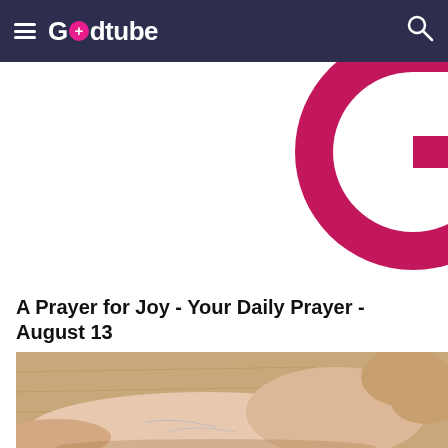Godtube
[Figure (logo): Godtube large pink G logo partially visible in top right corner]
A Prayer for Joy - Your Daily Prayer - August 13
[Figure (photo): Close-up photo of hands holding/massaging a foot and ankle area, on a wooden floor background]